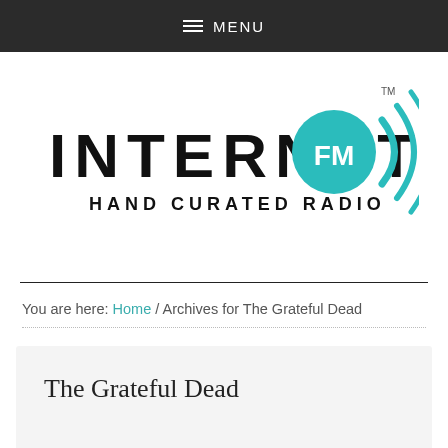MENU
[Figure (logo): Internet FM Hand Curated Radio logo with FM signal icon]
You are here: Home / Archives for The Grateful Dead
The Grateful Dead